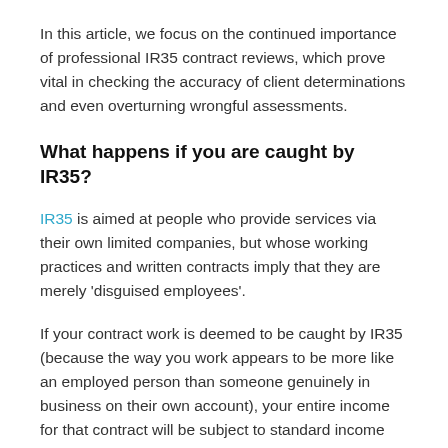In this article, we focus on the continued importance of professional IR35 contract reviews, which prove vital in checking the accuracy of client determinations and even overturning wrongful assessments.
What happens if you are caught by IR35?
IR35 is aimed at people who provide services via their own limited companies, but whose working practices and written contracts imply that they are merely 'disguised employees'.
If your contract work is deemed to be caught by IR35 (because the way you work appears to be more like an employed person than someone genuinely in business on their own account), your entire income for that contract will be subject to standard income tax and National Insurance Contributions, rather than the more